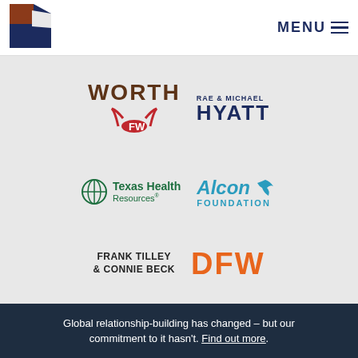[Figure (logo): Fort Worth logo with red longhorn and blue area]
[Figure (logo): MENU navigation icon with hamburger lines]
[Figure (logo): WORTH / FW Fort Worth logo in brown and red]
[Figure (logo): RAE & MICHAEL HYATT logo in navy blue]
[Figure (logo): Texas Health Resources logo in green with globe icon]
[Figure (logo): Alcon Foundation logo in teal blue with leaf icon]
[Figure (logo): FRANK TILLEY & CONNIE BECK text logo in black]
[Figure (logo): DFW logo in orange]
Global relationship-building has changed – but our commitment to it hasn't. Find out more.